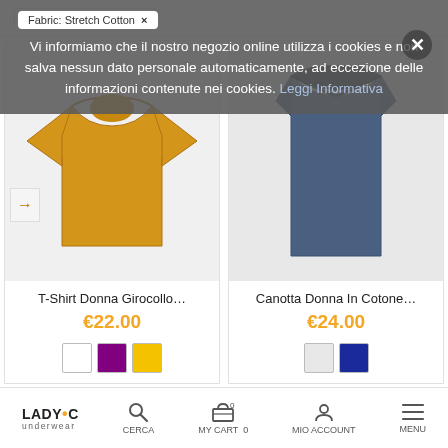Fabric: Stretch Cotton ×
Vi informiamo che il nostro negozio online utilizza i cookies e non salva nessun dato personale automaticamente, ad eccezione delle informazioni contenute nei cookies. Leggi Informativa
[Figure (photo): Yellow women's t-shirt with round neck and short sleeves]
T-Shirt Donna Girocollo…
€22.00
[Figure (photo): Dark blue women's tank top / sleeveless shirt]
Canotta Donna In Cotone…
€24.00
LADY•C underwear | CERCA | MY CART 0 | MIO ACCOUNT | MENU